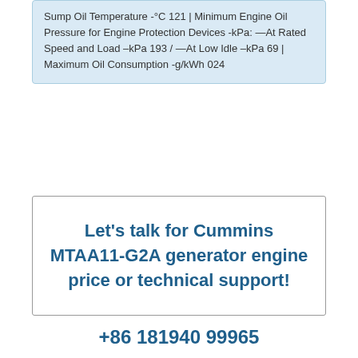Sump Oil Temperature -°C 121 | Minimum Engine Oil Pressure for Engine Protection Devices -kPa: —At Rated Speed and Load –kPa 193 / —At Low Idle –kPa 69 | Maximum Oil Consumption -g/kWh 024
Let's talk for Cummins MTAA11-G2A generator engine price or technical support!
+86 181940 99965